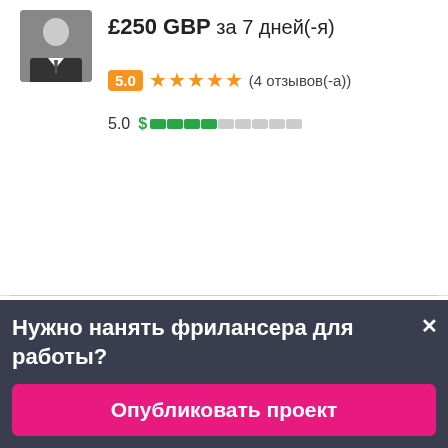£250 GBP за 7 дней(-я)
5.0 ★★★★★ (4 отзывов(-а))
5.0 $ [bar chart]
JoakMasch 🇦🇷
5.0 ★★★★★ (25 отзывов(-а))
4.4 $ [bar chart]
Нужно нанять фрилансера для работы?
Опубликовать проект